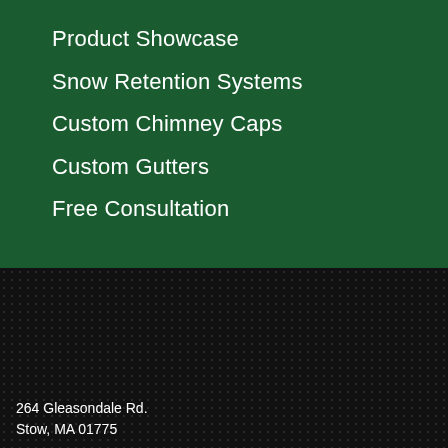Product Showcase
Snow Retention Systems
Custom Chimney Caps
Custom Gutters
Free Consultation
264 Gleasondale Rd.
Stow, MA 01775